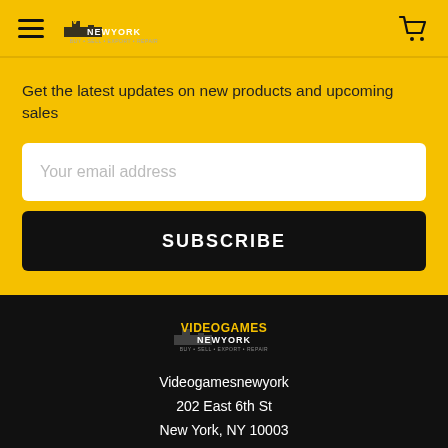Videogames New York — navigation header with hamburger menu and cart icon
Get the latest updates on new products and upcoming sales
Your email address
SUBSCRIBE
[Figure (logo): Videogames New York logo in yellow and white on black footer]
Videogamesnewyork
202 East 6th St
New York, NY 10003
Call us at 212-539-1039